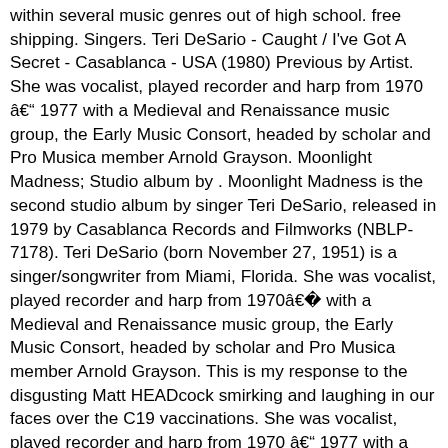within several music genres out of high school. free shipping. Singers. Teri DeSario - Caught / I've Got A Secret - Casablanca - USA (1980) Previous by Artist. She was vocalist, played recorder and harp from 1970 â 1977 with a Medieval and Renaissance music group, the Early Music Consort, headed by scholar and Pro Musica member Arnold Grayson. Moonlight Madness; Studio album by . Moonlight Madness is the second studio album by singer Teri DeSario, released in 1979 by Casablanca Records and Filmworks (NBLP-7178). Teri DeSario (born November 27, 1951) is a singer/songwriter from Miami, Florida. She was vocalist, played recorder and harp from 1970â1977 with a Medieval and Renaissance music group, the Early Music Consort, headed by scholar and Pro Musica member Arnold Grayson. This is my response to the disgusting Matt HEADcock smirking and laughing in our faces over the C19 vaccinations. She was vocalist, played recorder and harp from 1970 â 1977 with a Medieval and Renaissance music group, the Early Music Consort, headed by scholar and Pro Musica member Arnold Grayson. Musicians. Tags: Bill Purse Teri Desario. She and her musician-composer husband Bill Purse formed together a band called Abacus. Early on, she explored many genres. Teri DeSario took her talents to production for Emergence on 1993's Laughing Medusa Theme Series, Vol. One